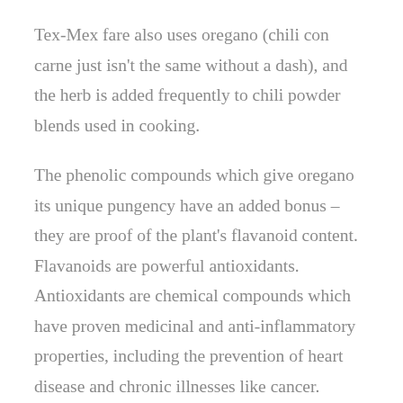Tex-Mex fare also uses oregano (chili con carne just isn't the same without a dash), and the herb is added frequently to chili powder blends used in cooking.
The phenolic compounds which give oregano its unique pungency have an added bonus – they are proof of the plant's flavanoid content. Flavanoids are powerful antioxidants. Antioxidants are chemical compounds which have proven medicinal and anti-inflammatory properties, including the prevention of heart disease and chronic illnesses like cancer.